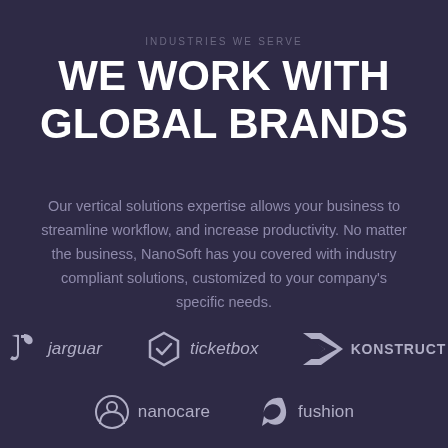INDUSTRIES WE SERVE
WE WORK WITH GLOBAL BRANDS
Our vertical solutions expertise allows your business to streamline workflow, and increase productivity. No matter the business, NanoSoft has you covered with industry compliant solutions, customized to your company's specific needs.
[Figure (logo): jarguar brand logo with stylized J icon]
[Figure (logo): ticketbox brand logo with hexagonal check icon]
[Figure (logo): KONSTRUCT brand logo with geometric K icon]
[Figure (logo): nanocare brand logo with circular icon]
[Figure (logo): fushion brand logo with stylized F icon]